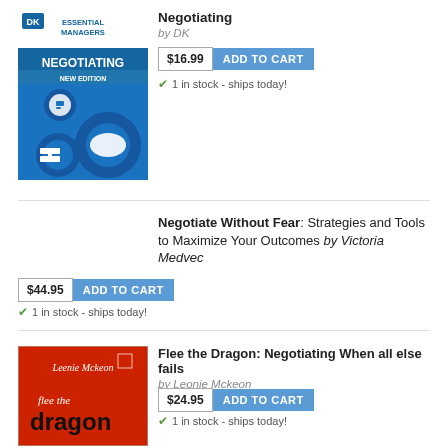[Figure (illustration): Book cover: Essential Managers - Negotiating, New Edition, blue cover with gear and handshake icons]
Negotiating
by DK
$16.99  ADD TO CART
✔ 1 in stock - ships today!
Negotiate Without Fear: Strategies and Tools to Maximize Your Outcomes by Victoria Medvec
$44.95  ADD TO CART
✔ 1 in stock - ships today!
[Figure (illustration): Book cover: Flee the Dragon by Leonie Mckeon, red cover with handwritten author name and bold black title]
Flee the Dragon: Negotiating When all else fails
by Leonie Mckeon
$24.95  ADD TO CART
✔ 1 in stock - ships today!